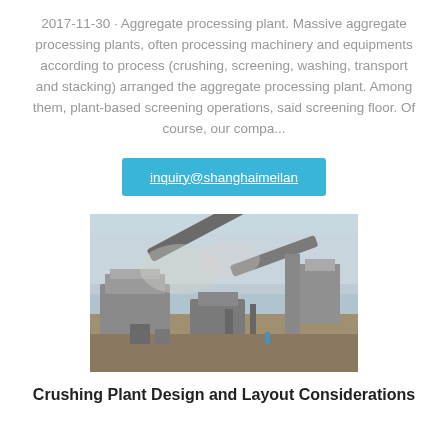2017-11-30 · Aggregate processing plant. Massive aggregate processing plants, often processing machinery and equipments according to process (crushing, screening, washing, transport and stacking) arranged the aggregate processing plant. Among them, plant-based screening operations, said screening floor. Of course, our compa...
inquiry@shanghaimeilan
[Figure (photo): Photograph of an aggregate crushing plant facility showing conveyor belts and processing equipment in an outdoor industrial setting with dust in the air.]
Crushing Plant Design and Layout Considerations